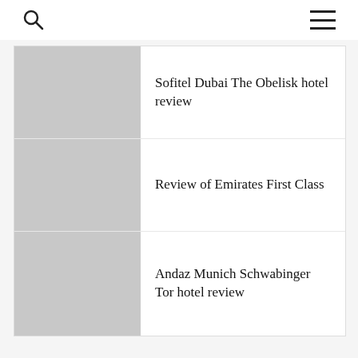Search and Menu navigation icons
Sofitel Dubai The Obelisk hotel review
Review of Emirates First Class
Andaz Munich Schwabinger Tor hotel review